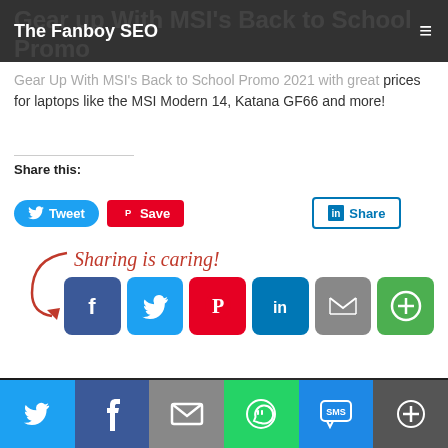The Fanboy SEO
Gear up With MSI's Back to School Promo
Gear Up With MSI's Back to School Promo 2021 with great prices for laptops like the MSI Modern 14, Katana GF66 and more!
Share this:
[Figure (screenshot): Social share buttons: Tweet (Twitter blue), Save (Pinterest red), Share (LinkedIn outlined)]
[Figure (infographic): Sharing is caring! text with arrow and social media icon buttons: Facebook, Twitter, Pinterest, LinkedIn, Email, More]
[Figure (photo): HyperX Predator DDR4 advertisement showing 7156MHz with comment badge showing 0]
[Figure (screenshot): Bottom share bar with Twitter, Facebook, Email, WhatsApp, SMS, More buttons]